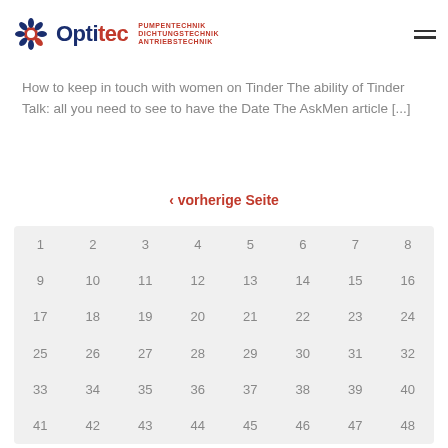Optitec – PUMPENTECHNIK DICHTUNGSTECHNIK ANTRIEBSTECHNIK
How to keep in touch with women on Tinder The ability of Tinder Talk: all you need to see to have the Date The AskMen article [...]
‹ vorherige Seite
| 1 | 2 | 3 | 4 | 5 | 6 | 7 | 8 |
| 9 | 10 | 11 | 12 | 13 | 14 | 15 | 16 |
| 17 | 18 | 19 | 20 | 21 | 22 | 23 | 24 |
| 25 | 26 | 27 | 28 | 29 | 30 | 31 | 32 |
| 33 | 34 | 35 | 36 | 37 | 38 | 39 | 40 |
| 41 | 42 | 43 | 44 | 45 | 46 | 47 | 48 |